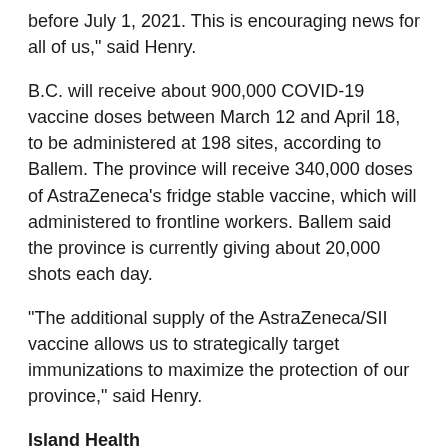before July 1, 2021. This is encouraging news for all of us," said Henry.
B.C. will receive about 900,000 COVID-19 vaccine doses between March 12 and April 18, to be administered at 198 sites, according to Ballem. The province will receive 340,000 doses of AstraZeneca's fridge stable vaccine, which will administered to frontline workers. Ballem said the province is currently giving about 20,000 shots each day.
“The additional supply of the AstraZeneca/SII vaccine allows us to strategically target immunizations to maximize the protection of our province,” said Henry.
Island Health
Island Health reported 30 new COVID-19 cases today, bringing the total number of active cases to 197. That number includes 97 in the central island region, up five in the last 24 hours, in addition to 72 in the south and